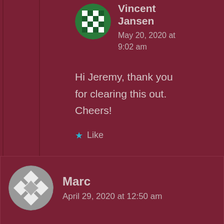Vincent Jansen
May 20, 2020 at 9:02 am
Hi Jeremy, thank you for clearing this out. Cheers!
Like
Marc
April 29, 2020 at 12:50 am
Hi Jeremy, thanks for the update. Do you know why upgrading from 4.7.411 isn´t